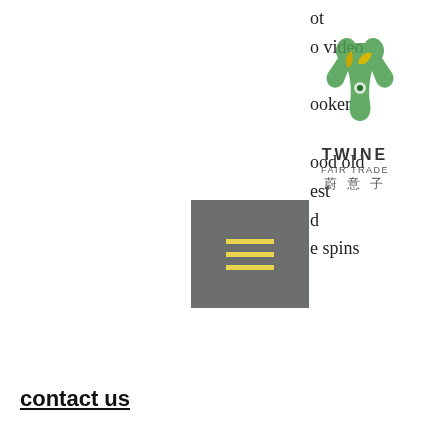[Figure (logo): Twine Fair Trade logo with stylized hand holding leaves and Chinese characters 蔚意子]
[Figure (other): Gray hamburger menu button with three yellow horizontal lines]
□□□□
ot
o video

ooker

ood old
est
d
e spins
contact us
casino, video poker wizard. Download video poker wizard for free. Get listed on apkmonk, submit app. App download version, 5. Last updated, apr 07, 2022. App by, clockwatchers inc. Harrah's metropolis casino in southern illinois video poker games offer a variety of options including multi-hand games and the newest releases. Gvr's casino is paradise for video poker players, with 100% payback machines featuring deuces wild, double double bonus, and all